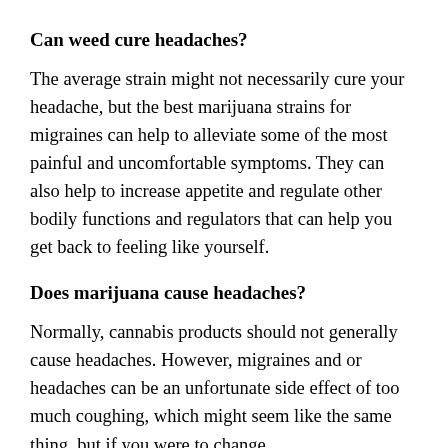Can weed cure headaches?
The average strain might not necessarily cure your headache, but the best marijuana strains for migraines can help to alleviate some of the most painful and uncomfortable symptoms. They can also help to increase appetite and regulate other bodily functions and regulators that can help you get back to feeling like yourself.
Does marijuana cause headaches?
Normally, cannabis products should not generally cause headaches. However, migraines and or headaches can be an unfortunate side effect of too much coughing, which might seem like the same thing, but if you were to change